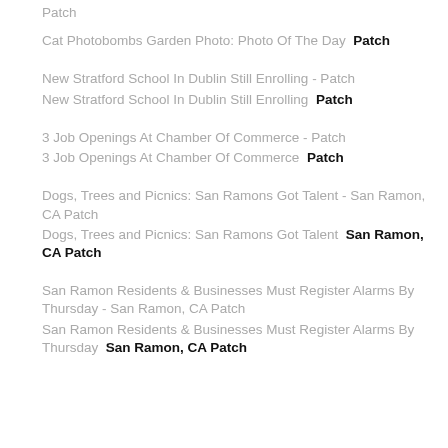Patch
Cat Photobombs Garden Photo: Photo Of The Day  Patch
New Stratford School In Dublin Still Enrolling - Patch
New Stratford School In Dublin Still Enrolling  Patch
3 Job Openings At Chamber Of Commerce - Patch
3 Job Openings At Chamber Of Commerce  Patch
Dogs, Trees and Picnics: San Ramons Got Talent - San Ramon, CA Patch
Dogs, Trees and Picnics: San Ramons Got Talent  San Ramon, CA Patch
San Ramon Residents & Businesses Must Register Alarms By Thursday - San Ramon, CA Patch
San Ramon Residents & Businesses Must Register Alarms By Thursday  San Ramon, CA Patch